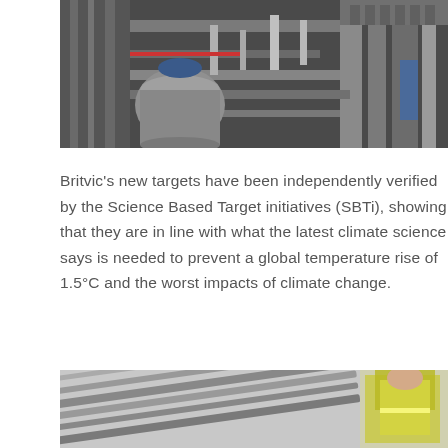[Figure (photo): Industrial facility with stainless steel pipes, tanks, and equipment; complex piping system in a manufacturing or processing plant]
Britvic's new targets have been independently verified by the Science Based Target initiatives (SBTi), showing that they are in line with what the latest climate science says is needed to prevent a global temperature rise of 1.5°C and the worst impacts of climate change.
[Figure (photo): Warehouse or distribution facility with conveyor belts and a worker in a yellow high-visibility vest in the background]